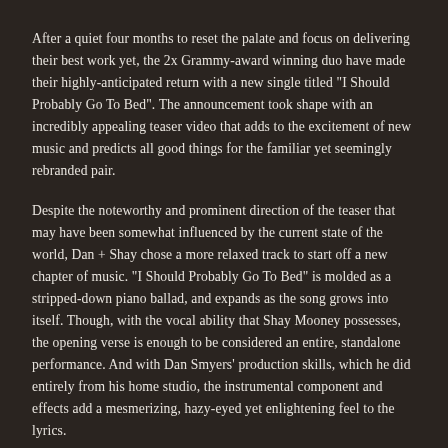After a quiet four months to reset the palate and focus on delivering their best work yet, the 2x Grammy-award winning duo have made their highly-anticipated return with a new single titled "I Should Probably Go To Bed". The announcement took shape with an incredibly appealing teaser video that adds to the excitement of new music and predicts all good things for the familiar yet seemingly rebranded pair.
Despite the noteworthy and prominent direction of the teaser that may have been somewhat influenced by the current state of the world, Dan + Shay chose a more relaxed track to start off a new chapter of music. "I Should Probably Go To Bed" is molded as a stripped-down piano ballad, and expands as the song grows into itself. Though, with the vocal ability that Shay Mooney possesses, the opening verse is enough to be considered an entire, standalone performance. And with Dan Smyers' production skills, which he did entirely from his home studio, the instrumental component and effects add a mesmerizing, hazy-eyed yet enlightening feel to the lyrics.
"So I should probably go to bed (Ah) / I should probably turn